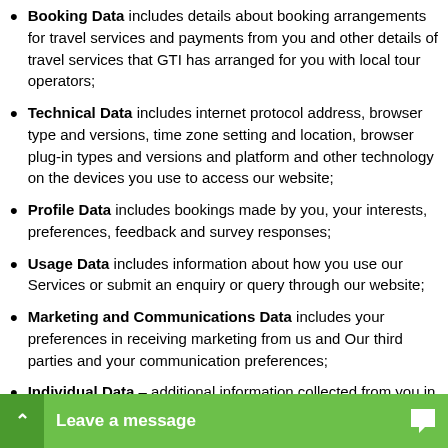Booking Data includes details about booking arrangements for travel services and payments from you and other details of travel services that GTI has arranged for you with local tour operators;
Technical Data includes internet protocol address, browser type and versions, time zone setting and location, browser plug-in types and versions and platform and other technology on the devices you use to access our website;
Profile Data includes bookings made by you, your interests, preferences, feedback and survey responses;
Usage Data includes information about how you use our Services or submit an enquiry or query through our website;
Marketing and Communications Data includes your preferences in receiving marketing from us and Our third parties and your communication preferences;
Individual Data – additional information collected from you in relation to the Services We provide;
Special Categories relating to disabilit…